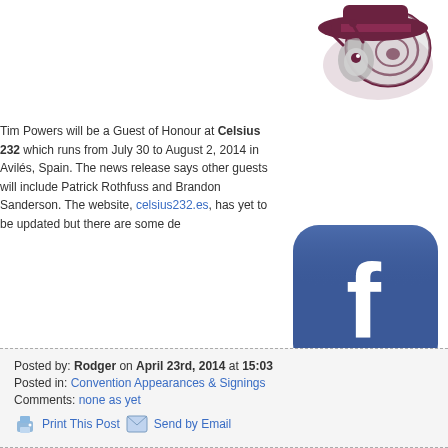[Figure (logo): Celsius 232 convention logo with snail/slug mascot in dark maroon and grey]
Tim Powers will be a Guest of Honour at Celsius 232 which runs from July 30 to August 2, 2014 in Avilés, Spain. The news release says other guests will include Patrick Rothfuss and Brandon Sanderson. The website, celsius232.es, has yet to be updated but there are some de
[Figure (logo): Facebook logo - blue rounded square with white lowercase f]
Posted by: Rodger on April 23rd, 2014 at 15:03
Posted in: Convention Appearances & Signings
Comments: none as yet
Print This Post  Send by Email